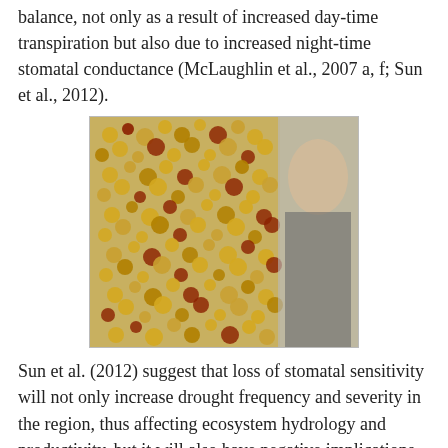balance, not only as a result of increased day-time transpiration but also due to increased night-time stomatal conductance (McLaughlin et al., 2007 a, f; Sun et al., 2012).
[Figure (photo): A photo of a decorative wall covered in many small golden and red ornamental shapes/discs. A blurred blonde woman stands to the right.]
Sun et al. (2012) suggest that loss of stomatal sensitivity will not only increase drought frequency and severity in the region, thus affecting ecosystem hydrology and productivity, but it will also have negative implications  for flow dependent aquatic biota.
[Figure (photo): A carved decorative mask or sculpture with painted facial features, tattoo-like markings, and expressive eyes, displayed against a wooden background.]